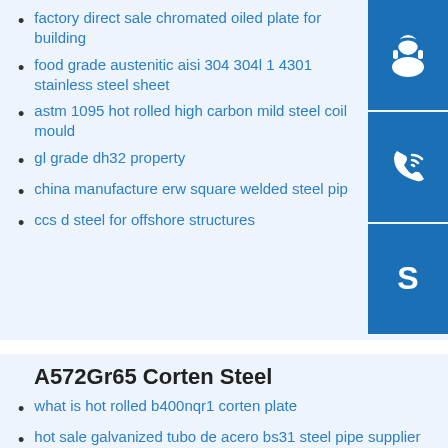factory direct sale chromated oiled plate for building
food grade austenitic aisi 304 304l 1 4301 stainless steel sheet
astm 1095 hot rolled high carbon mild steel coil mould
gl grade dh32 property
china manufacture erw square welded steel pipe
ccs d steel for offshore structures
A572Gr65 Corten Steel
what is hot rolled b400nqr1 corten plate
hot sale galvanized tubo de acero bs31 steel pipe supplier